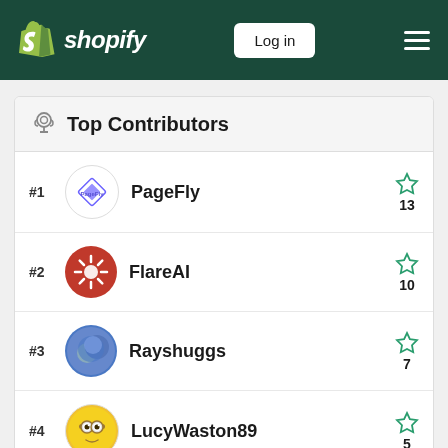Shopify — Log in
Top Contributors
#1 PageFly — 13 stars
#2 FlareAI — 10 stars
#3 Rayshuggs — 7 stars
#4 LucyWaston89 — 5 stars